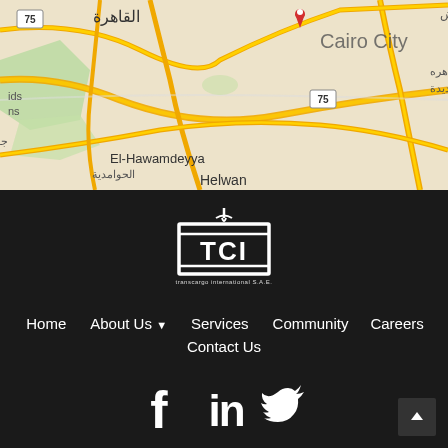[Figure (map): Google Maps view of Cairo City area showing El-Hawamdeyya, Helwan, and surrounding areas with Arabic text labels and road network. A red location pin is visible near Cairo City center.]
[Figure (logo): TCI (Transcargo International S.A.E.) white logo on dark background showing a crane hook above a shipping container with 'TCI' text inside]
Home
About Us
Services
Community
Careers
Contact Us
[Figure (illustration): Social media icons: Facebook (f), LinkedIn (in), Twitter (bird icon) displayed in white on dark background]